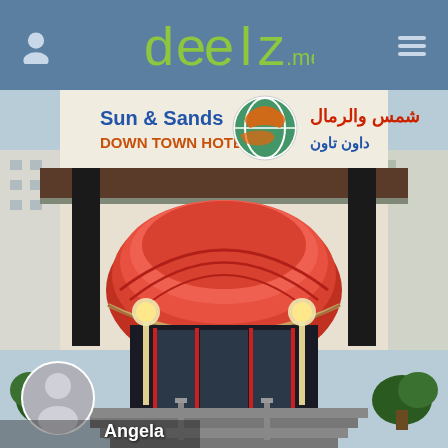deelz.me
[Figure (photo): Photograph of Sun & Sands Down Town Hotel exterior entrance. The hotel sign reads 'Sun & Sands DOWN TOWN HOTEL' in English and Arabic. A large red dome-shaped canopy covers the entrance. Twin black columns flank the entrance. Steps lead up to revolving glass doors. Ornate lamp posts on each side. Green plants and surrounding buildings visible.]
Angela